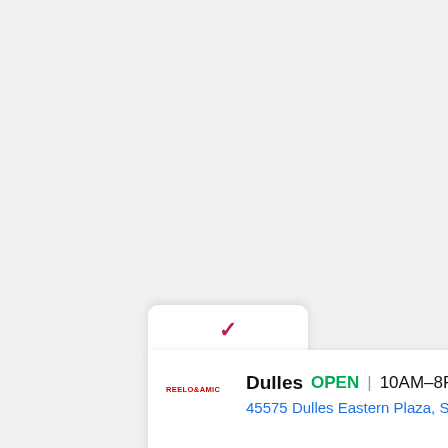[Figure (screenshot): A UI card showing a store listing for 'Dulles' location. The card has a collapsed tab with a pink/magenta chevron at top, then the main card showing: a red logo (Ralecomm or similar), store name 'Dulles', green 'OPEN' badge, hours '10AM-8PM', address '45575 Dulles Eastern Plaza, Sui...', a blue diamond directions button, and two small icons (play and close) at the bottom left.]